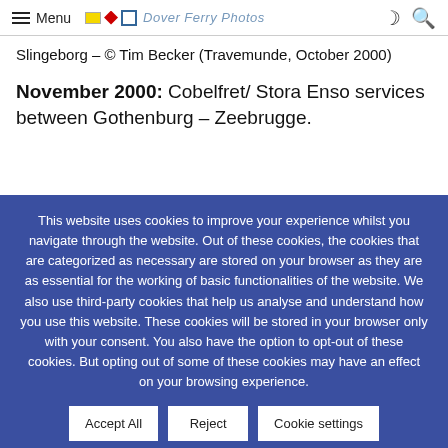Menu | Dover Ferry Photos
Slingeborg – © Tim Becker (Travemunde, October 2000)
November 2000: Cobelfret/ Stora Enso services between Gothenburg – Zeebrugge.
This website uses cookies to improve your experience whilst you navigate through the website. Out of these cookies, the cookies that are categorized as necessary are stored on your browser as they are as essential for the working of basic functionalities of the website. We also use third-party cookies that help us analyse and understand how you use this website. These cookies will be stored in your browser only with your consent. You also have the option to opt-out of these cookies. But opting out of some of these cookies may have an effect on your browsing experience.